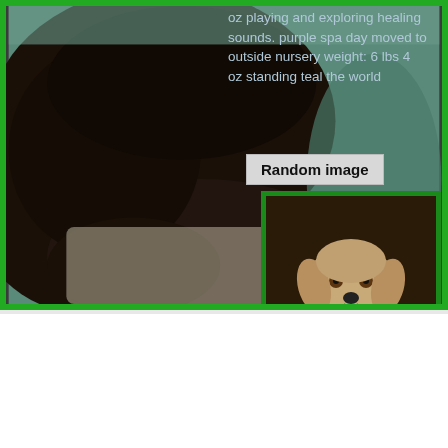[Figure (photo): Large dark brown dog lying down, viewed from behind/side, on a light surface with a teal/blue-green background. Overlay text visible in upper right: '...oz playing and exploring healing sounds. purple spa day moved to outside nursery weight: 6 lbs 4 oz standing teal the world']
oz playing and exploring healing sounds. purple spa day moved to outside nursery weight: 6 lbs 4 oz standing teal the world
Random image
[Figure (photo): Small fluffy cream/golden puppy (goldendoodle) sitting upright, facing camera, with blue flowers in background, framed in dark wood frame]
Paris Deacon pups 1 wk old 161